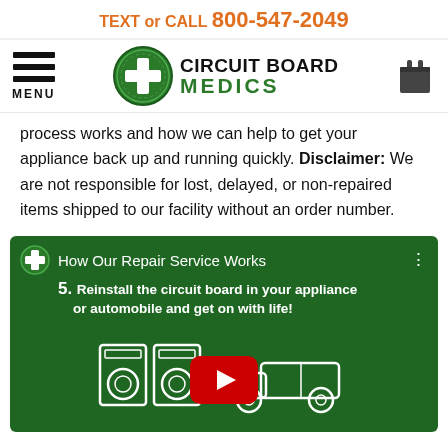TEXT or CALL 800-547-2049
[Figure (logo): Circuit Board Medics logo with green cross icon and navigation menu icon and shopping cart icon]
process works and how we can help to get your appliance back up and running quickly. Disclaimer: We are not responsible for lost, delayed, or non-repaired items shipped to our facility without an order number.
[Figure (screenshot): YouTube video thumbnail on dark green background showing 'How Our Repair Service Works' with step 5: Reinstall the circuit board in your appliance or automobile and get on with life! Icons of washing machines, a car on a lift, and a pickup truck with YouTube play button overlay.]